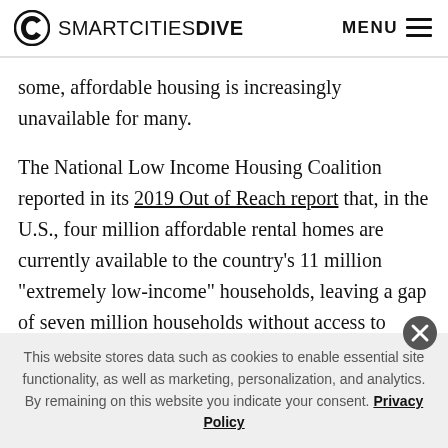SMARTCITIES DIVE   MENU
some, affordable housing is increasingly unavailable for many.
The National Low Income Housing Coalition reported in its 2019 Out of Reach report that, in the U.S., four million affordable rental homes are currently available to the country’s 11 million “extremely low-income” households, leaving a gap of seven million households without access to affordable housing. In the U.K., this
This website stores data such as cookies to enable essential site functionality, as well as marketing, personalization, and analytics. By remaining on this website you indicate your consent. Privacy Policy